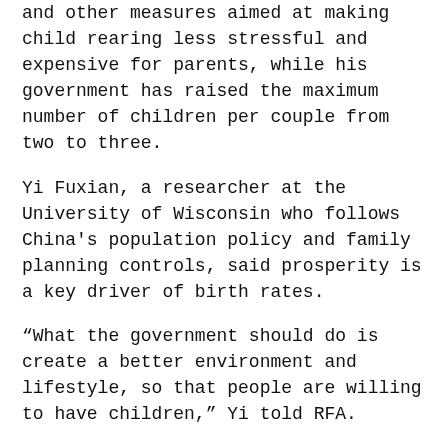and other measures aimed at making child rearing less stressful and expensive for parents, while his government has raised the maximum number of children per couple from two to three.
Yi Fuxian, a researcher at the University of Wisconsin who follows China's population policy and family planning controls, said prosperity is a key driver of birth rates.
“What the government should do is create a better environment and lifestyle, so that people are willing to have children,” Yi told RFA.
“This is the government’s obligation and responsibility.”
‘You can’t stop them at all’
A man who gave only the surname Chen said he